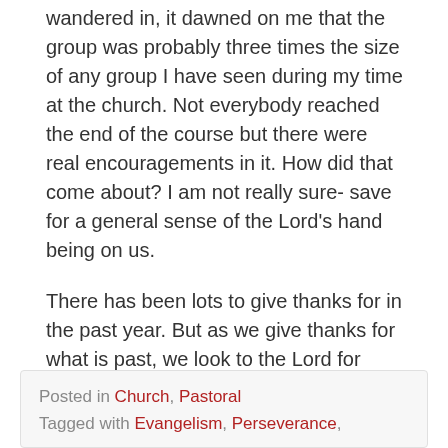wandered in, it dawned on me that the group was probably three times the size of any group I have seen during my time at the church. Not everybody reached the end of the course but there were real encouragements in it. How did that come about? I am not really sure- save for a general sense of the Lord’s hand being on us.
There has been lots to give thanks for in the past year. But as we give thanks for what is past, we look to the Lord for what is to come which is why we are holding a week of prayer starting on Monday. It would be great if we had even more to look back on come the end of 2015...
Posted in Church, Pastoral
Tagged with Evangelism, Perseverance,